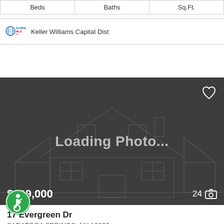| Beds | Baths | Sq.Ft. |
| --- | --- | --- |
Keller Williams Capital Dist
[Figure (photo): Loading Photo... placeholder with house outline graphic. Price $499,000, 24 photos shown.]
17 Evergreen Dr
SARATOGA SPRINGS, NY 12866